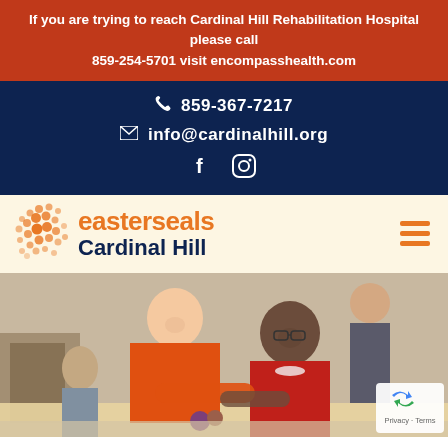If you are trying to reach Cardinal Hill Rehabilitation Hospital please call 859-254-5701 visit encompasshealth.com
859-367-7217
info@cardinalhill.org
[Figure (logo): Easterseals Cardinal Hill logo with orange dot pattern and text]
[Figure (photo): Photo of a young man in an orange shirt and an elderly woman smiling together at a table]